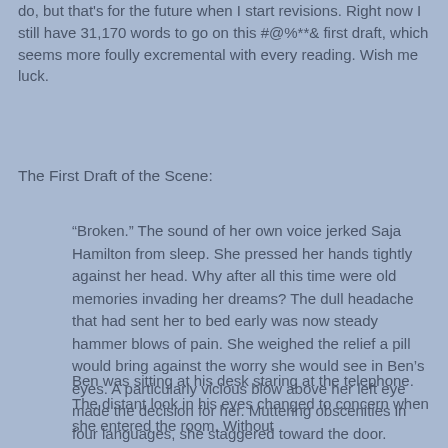do, but that's for the future when I start revisions. Right now I still have 31,170 words to go on this #@%**& first draft, which seems more foully excremental with every reading. Wish me luck.
The First Draft of the Scene:
“Broken.” The sound of her own voice jerked Saja Hamilton from sleep. She pressed her hands tightly against her head. Why after all this time were old memories invading her dreams? The dull headache that had sent her to bed early was now steady hammer blows of pain. She weighed the relief a pill would bring against the worry she would see in Ben’s eyes. A particularly vicious blow above her left eye made the decision for her. Muttering obscenities in four languages, she staggered toward the door.
Ben was sitting at his desk staring at the telephone. The distant look in his eyes changed to concern when she entered the room. Without